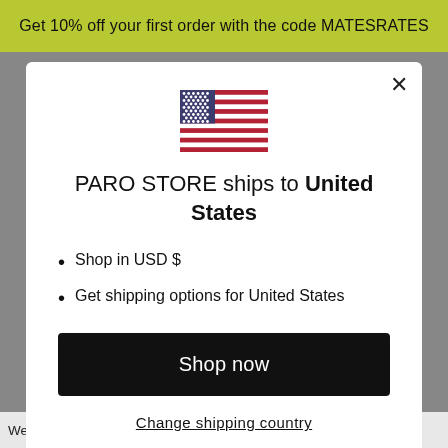Get 10% off your first order with the code MATESRATES
[Figure (illustration): US flag icon displayed in the modal dialog]
PARO STORE ships to United States
Shop in USD $
Get shipping options for United States
Shop now
Change shipping country
We also wanted to shout out Montreal-based brand Eden Power